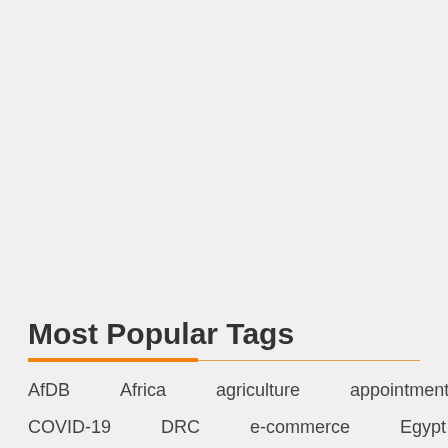Most Popular Tags
AfDB
Africa
agriculture
appointment
aviation
COVID-19
DRC
e-commerce
Egypt
Ethiopia